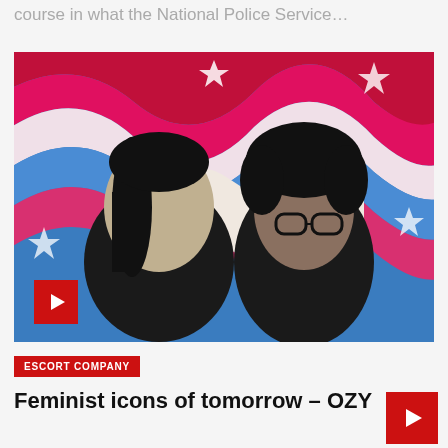course in what the National Police Service…
[Figure (photo): Two women posing together in black and white photo with colorful psychedelic wavy pattern background in blue, pink, and red with white star shapes. Left woman has straight dark hair; right woman has curly hair and glasses.]
ESCORT COMPANY
Feminist icons of tomorrow – OZY